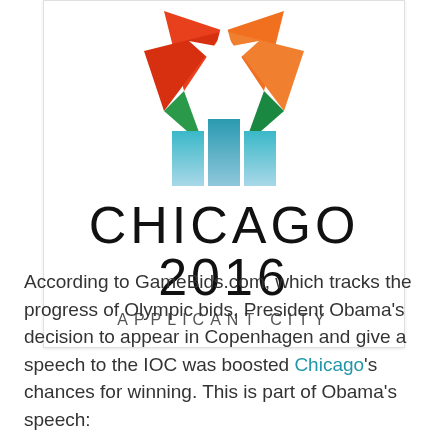[Figure (logo): Chicago 2016 Olympic Applicant City logo — a star burst shape with red, orange, green, and blue/teal gradient colors above text reading 'CHICAGO 2016' and 'APPLICANT CITY']
According to GameBids.com, which tracks the progress of Olympic bids, President Obama's decision to appear in Copenhagen and give a speech to the IOC was boosted Chicago's chances for winning. This is part of Obama's speech: